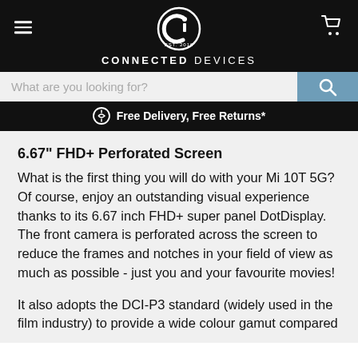CONNECTED DEVICES — Est. 2016
What are you looking for?
Free Delivery, Free Returns*
6.67" FHD+ Perforated Screen
What is the first thing you will do with your Mi 10T 5G? Of course, enjoy an outstanding visual experience thanks to its 6.67 inch FHD+ super panel DotDisplay. The front camera is perforated across the screen to reduce the frames and notches in your field of view as much as possible - just you and your favourite movies!
It also adopts the DCI-P3 standard (widely used in the film industry) to provide a wide colour gamut compared